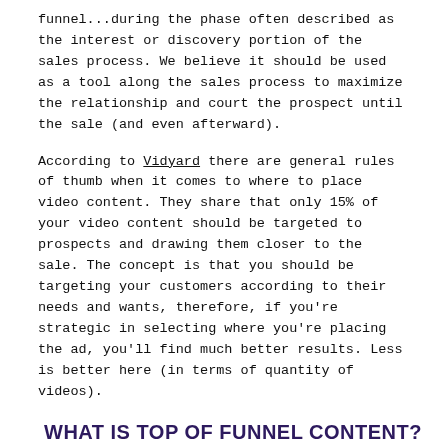funnel...during the phase often described as the interest or discovery portion of the sales process. We believe it should be used as a tool along the sales process to maximize the relationship and court the prospect until the sale (and even afterward).
According to Vidyard there are general rules of thumb when it comes to where to place video content. They share that only 15% of your video content should be targeted to prospects and drawing them closer to the sale. The concept is that you should be targeting your customers according to their needs and wants, therefore, if you're strategic in selecting where you're placing the ad, you'll find much better results. Less is better here (in terms of quantity of videos).
WHAT IS TOP OF FUNNEL CONTENT?
Bringing in prospects can be tricky, but placing video topics that are broad in nature, that have a more mass attraction can attract the right client. At this stage, it's important for